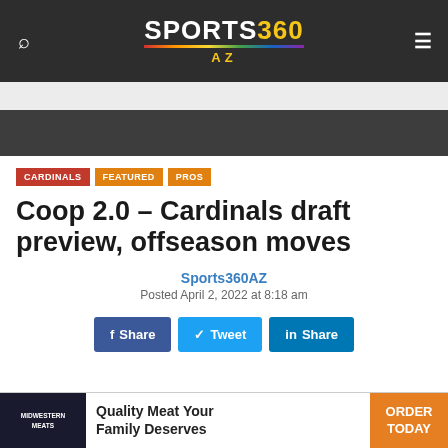Sports360AZ — navigation header with search and menu icons
[Figure (logo): Sports360 AZ logo with multicolor underline stripe]
CARDINALS   FEATURED   PROS
Coop 2.0 – Cardinals draft preview, offseason moves
Sports360AZ
Posted April 2, 2022 at 8:18 am
f Share   Tweet   in Share
[Figure (infographic): Midwestern Meats advertisement: Quality Meat Your Family Deserves — ORDER TODAY]